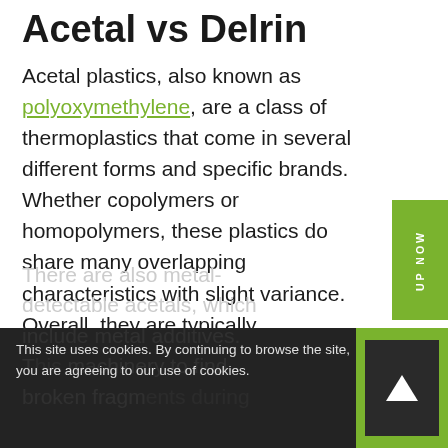Acetal vs Delrin
Acetal plastics, also known as polyoxymethylene, are a class of thermoplastics that come in several different forms and specific brands. Whether copolymers or homopolymers, these plastics do share many overlapping characteristics with slight variance. Overall, they are typically lightweight, wear-resistant, and low-friction.
There are also metal-detectable acetals, which include metal additives. This machinery to find broken fragments during
This site uses cookies. By continuing to browse the site, you are agreeing to our use of cookies.